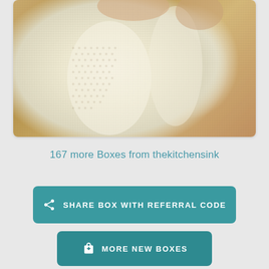[Figure (photo): Close-up photo of a person wearing a cream/off-white open-knit sweater with visible knit texture, against a wooden background. The sweater has a chunky knit pattern.]
167 more Boxes from thekitchensink
SHARE BOX WITH REFERRAL CODE
MORE NEW BOXES